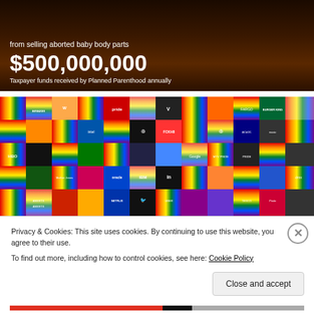[Figure (photo): Dark background image showing text about Planned Parenthood and aborted baby body parts, with $500,000,000 displayed prominently]
from selling aborted baby body parts
$500,000,000
Taxpayer funds received by Planned Parenthood annually
[Figure (photo): Grid of corporate logos shown with rainbow/Pride flag colors, including Amazon, IBM, LinkedIn, Google, Netflix, Twitter, Uber, Spotify, YouTube, and many others]
Privacy & Cookies: This site uses cookies. By continuing to use this website, you agree to their use.
To find out more, including how to control cookies, see here: Cookie Policy